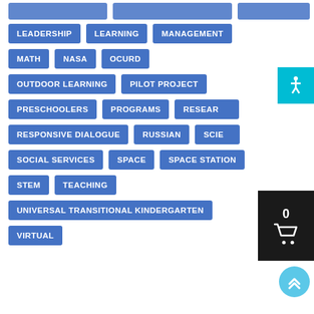LEADERSHIP
LEARNING
MANAGEMENT
MATH
NASA
OCURD
OUTDOOR LEARNING
PILOT PROJECT
PRESCHOOLERS
PROGRAMS
RESEARCH
RESPONSIVE DIALOGUE
RUSSIAN
SCIENCE
SOCIAL SERVICES
SPACE
SPACE STATION
STEM
TEACHING
UNIVERSAL TRANSITIONAL KINDERGARTEN
VIRTUAL